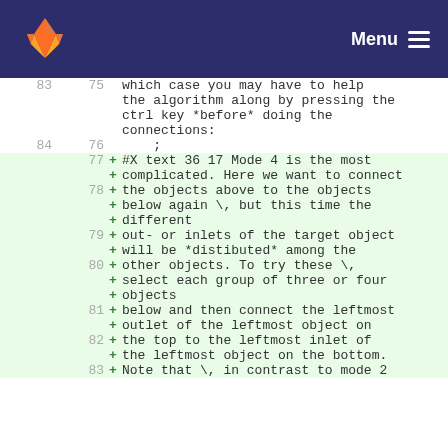Menu
| old# | new# | sign | code |
| --- | --- | --- | --- |
| 83 | 75 |  | which case you may have to help
the algorithm along by pressing the
ctrl key *before* doing the
connections: |
| 84 | 76 |  | ; |
|  | 77 | + | #X text 36 17 Mode 4 is the most
complicated. Here we want to connect |
|  | 78 | + | the objects above to the objects
below again \, but this time the
different |
|  | 79 | + | out- or inlets of the target object
will be *distibuted* among the |
|  | 80 | + | other objects. To try these \,
select each group of three or four
objects |
|  | 81 | + | below and then connect the leftmost
outlet of the leftmost object on |
|  | 82 | + | the top to the leftmost inlet of
the leftmost object on the bottom. |
|  | 83 | + | Note that \, in contrast to mode 2 |